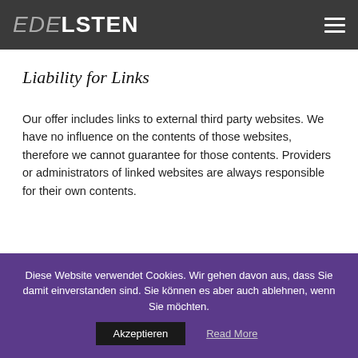EDELSTEN
Liability for Links
Our offer includes links to external third party websites. We have no influence on the contents of those websites, therefore we cannot guarantee for those contents. Providers or administrators of linked websites are always responsible for their own contents.
Diese Website verwendet Cookies. Wir gehen davon aus, dass Sie damit einverstanden sind. Sie können es aber auch ablehnen, wenn Sie möchten. Akzeptieren  Read More